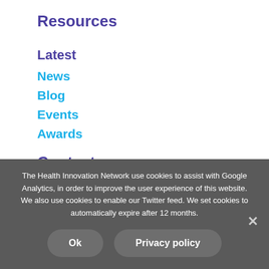Resources
Latest
News
Blog
Events
Awards
Contact
The Health Innovation Network use cookies to assist with Google Analytics, in order to improve the user experience of this website. We also use cookies to enable our Twitter feed. We set cookies to automatically expire after 12 months.
Ok
Privacy policy